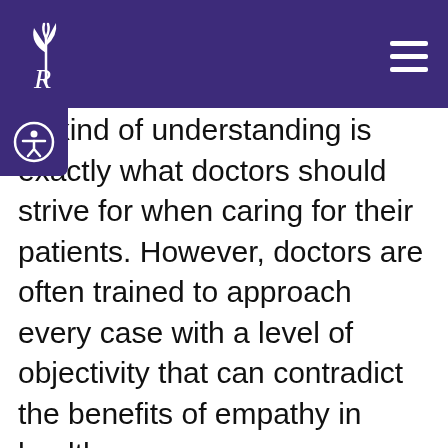lis kind of understanding is exactly what doctors should strive for when caring for their patients. However, doctors are often trained to approach every case with a level of objectivity that can contradict the benefits of empathy in healthcare.
Objectivity is a critical component in diagnosing health concerns and choosing treatments. But health